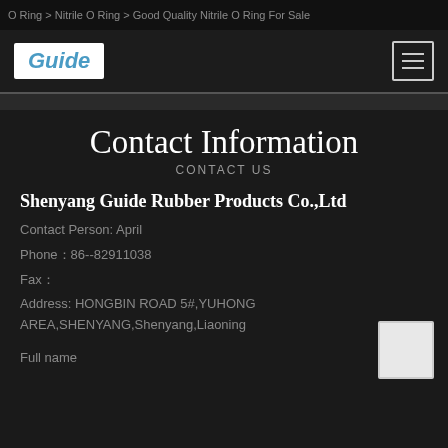O Ring > Nitrile O Ring > Good Quality Nitrile O Ring For Sale
[Figure (logo): Guide logo in white box with blue italic text]
Contact Information
CONTACT US
Shenyang Guide Rubber Products Co.,Ltd
Contact Person: April
Phone：86--82911038
Fax：
Address: HONGBIN ROAD 5#,YUHONG AREA,SHENYANG,Shenyang,Liaoning
Full name